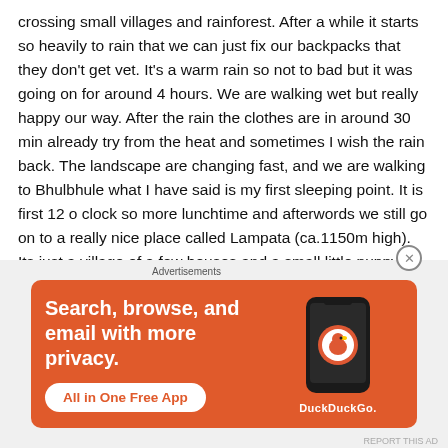crossing small villages and rainforest. After a while it starts so heavily to rain that we can just fix our backpacks that they don't get vet. It's a warm rain so not to bad but it was going on for around 4 hours. We are walking wet but really happy our way. After the rain the clothes are in around 30 min already try from the heat and sometimes I wish the rain back. The landscape are changing fast, and we are walking to Bhulbhule what I have said is my first sleeping point. It is first 12 o clock so more lunchtime and afterwords we still go on to a really nice place called Lampata (ca.1150m high). Its just a village of a few houses and a small little puppy who wants to play all the time. They have a hot spring around 30 min away
Advertisements
[Figure (other): DuckDuckGo advertisement banner with orange background showing 'Search, browse, and email with more privacy. All in One Free App' with a phone graphic and DuckDuckGo logo]